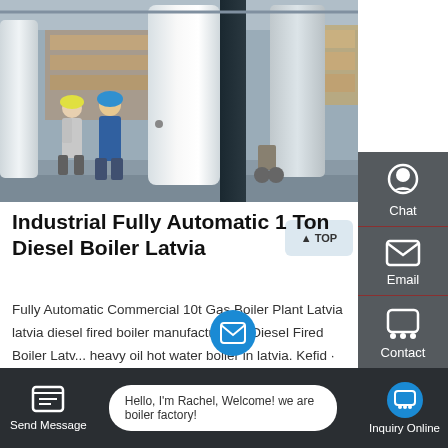[Figure (photo): Industrial factory floor with large white cylindrical boilers/tanks, workers in hard hats, wooden crates and shelves in background]
Industrial Fully Automatic 1 Ton Diesel Boiler Latvia
Fully Automatic Commercial 10t Gas Boiler Plant Latvia latvia diesel fired boiler manufacturer 6t Diesel Fired Boiler Latv... heavy oil hot water boiler in latvia. Kefid · Boiler: Fully automatic 8 ton steam boiler natural gas fired boilers in
[Figure (screenshot): Side panel with Chat, Email, Contact, and Top navigation icons on dark grey background]
Hello, I'm Rachel, Welcome! we are boiler factory!
Send Message    Inquiry Online